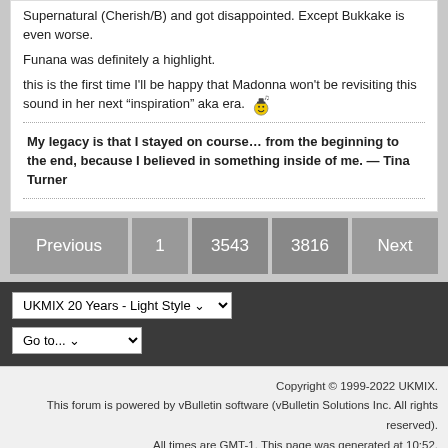Supernatural (Cherish/B) and got disappointed. Except Bukkake is even worse.
Funana was definitely a highlight.
this is the first time I'll be happy that Madonna won't be revisiting this sound in her next “inspiration” aka era.
My legacy is that I stayed on course… from the beginning to the end, because I believed in something inside of me. — Tina Turner
Previous 1 3543 3816 Next
UKMIX 20 Years - Light Style
Go to...
Copyright © 1999-2022 UKMIX. This forum is powered by vBulletin software (vBulletin Solutions Inc. All rights reserved). All times are GMT-1. This page was generated at 10:52.